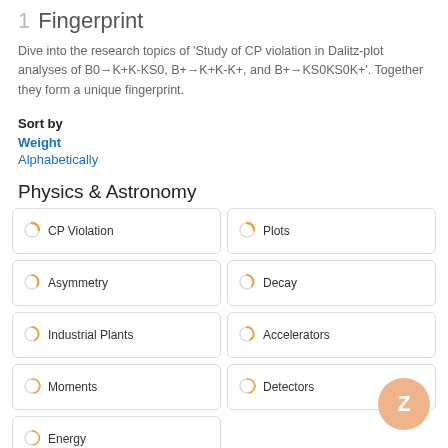1 Fingerprint
Dive into the research topics of 'Study of CP violation in Dalitz-plot analyses of B0→K+K-KS0, B+→K+K-K+, and B+→KS0KS0K+'. Together they form a unique fingerprint.
Sort by
Weight
Alphabetically
Physics & Astronomy
CP Violation
Plots
Asymmetry
Decay
Industrial Plants
Accelerators
Moments
Detectors
Energy